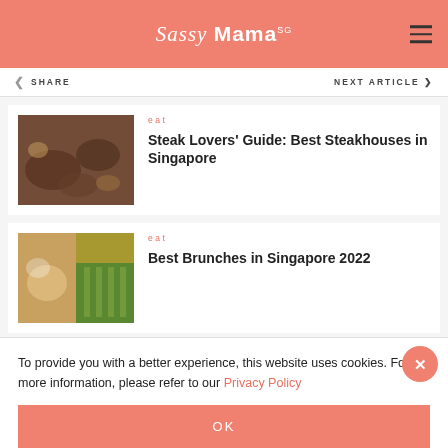Sassy Mama
SHARE   NEXT ARTICLE
[Figure (photo): Food spread with steaks and dishes on a wooden table]
eat
Steak Lovers' Guide: Best Steakhouses in Singapore
[Figure (photo): Two food images side by side: bowl of food and restaurant interior with greenery]
eat
Best Brunches in Singapore 2022
To provide you with a better experience, this website uses cookies. For more information, please refer to our Privacy Policy
OK